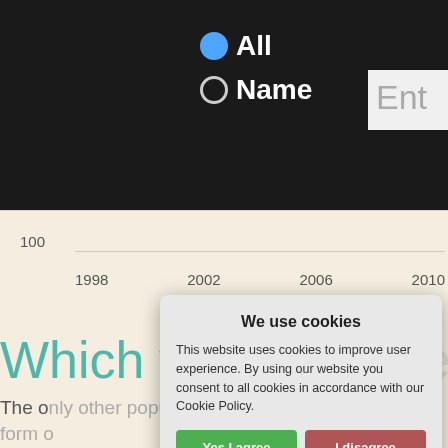[Figure (screenshot): Website UI showing radio buttons for 'All' and 'Name' search options on a dark header, with a partial text input box labeled 'Ent']
[Figure (continuous-plot): Line chart x-axis showing years 1998, 2002, 2006, 2010 with y-axis label 100, on a beige background]
Which version is better?
The only other popular related form of Odell. These forms of Odie were at the ago (MEDIAN #474), but now, versions su vogue
We use cookies
This website uses cookies to improve user experience. By using our website you consent to all cookies in accordance with our Cookie Policy.
Yes I agree
I disagree
Read more
Free cookie consent by cookie-script.com